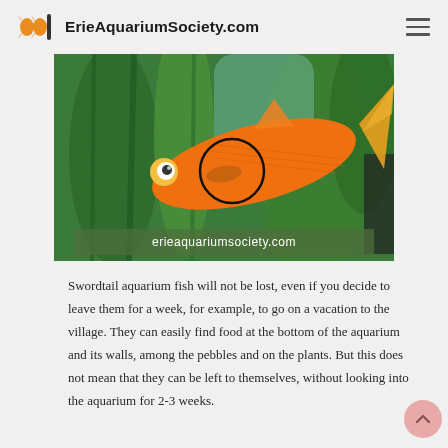ErieAquariumSociety.com
[Figure (photo): An orange swordtail fish swimming among green aquatic plants. A black circle is drawn on the fish's body to highlight a feature. A watermark reading 'erieaquariumsociety.com' appears at the bottom of the image.]
Swordtail aquarium fish will not be lost, even if you decide to leave them for a week, for example, to go on a vacation to the village. They can easily find food at the bottom of the aquarium and its walls, among the pebbles and on the plants. But this does not mean that they can be left to themselves, without looking into the aquarium for 2-3 weeks.